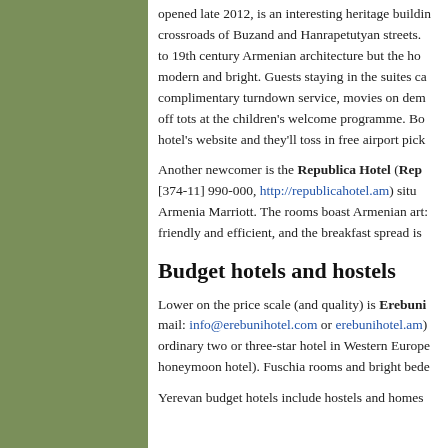opened late 2012, is an interesting heritage building at the crossroads of Buzand and Hanrapetutyan streets. The exterior nods to 19th century Armenian architecture but the hotel interior is modern and bright. Guests staying in the suites can expect complimentary turndown service, movies on demand, and drop off tots at the children's welcome programme. Book via the hotel's website and they'll toss in free airport pick
Another newcomer is the Republica Hotel (Repu [374-11] 990-000, http://republicahotel.am) situated near the Armenia Marriott. The rooms boast Armenian art: friendly and efficient, and the breakfast spread is
Budget hotels and hostels
Lower on the price scale (and quality) is Erebuni mail: info@erebunihotel.com or erebunihotel.am) ordinary two or three-star hotel in Western Europe honeymoon hotel). Fuschia rooms and bright bede
Yerevan budget hotels include hostels and homes